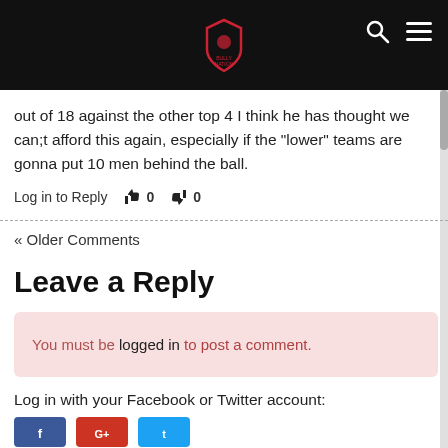BULLY NATION (logo with shield icon), search icon, menu icon
out of 18 against the other top 4 I think he has thought we can;t afford this again, especially if the "lower" teams are gonna put 10 men behind the ball.
Log in to Reply  👍 0  👎 0
« Older Comments
Leave a Reply
You must be logged in to post a comment.
Log in with your Facebook or Twitter account: